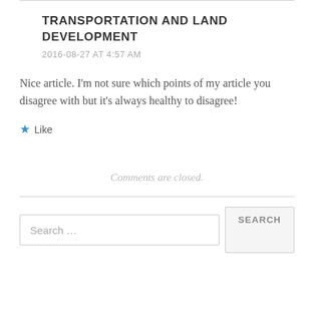TRANSPORTATION AND LAND DEVELOPMENT
2016-08-27 AT 4:57 AM
Nice article. I'm not sure which points of my article you disagree with but it's always healthy to disagree!
★ Like
Comments are closed.
Search …